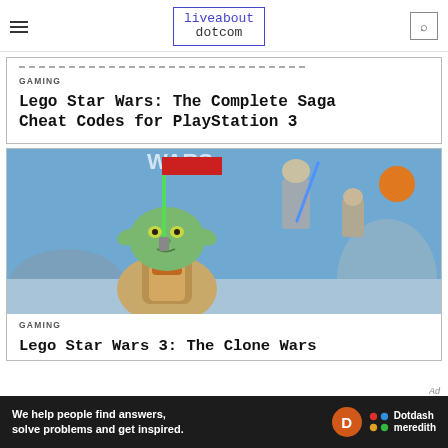liveabout dotcom
GAMING
Lego Star Wars: The Complete Saga Cheat Codes for PlayStation 3
[Figure (photo): LEGO Star Wars: The Clone Wars video game box art or promotional image showing LEGO versions of Yoda and other Star Wars characters with lightsabers against a blue sky background]
GAMING
Lego Star Wars 3: The Clone Wars
Ad
We help people find answers, solve problems and get inspired.
Dotdash meredith